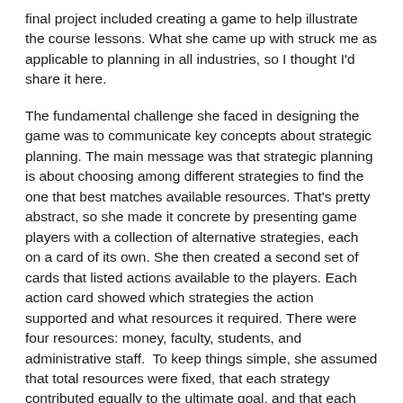final project included creating a game to help illustrate the course lessons. What she came up with struck me as applicable to planning in all industries, so I thought I'd share it here.
The fundamental challenge she faced in designing the game was to communicate key concepts about strategic planning. The main message was that strategic planning is about choosing among different strategies to find the one that best matches available resources. That's pretty abstract, so she made it concrete by presenting game players with a collection of alternative strategies, each on a card of its own. She then created a second set of cards that listed actions available to the players. Each action card showed which strategies the action supported and what resources it required. There were four resources: money, faculty, students, and administrative staff.  To keep things simple, she assumed that total resources were fixed, that each strategy contributed equally to the ultimate goal, and that each action contributed equally to whichever strategies it supported.